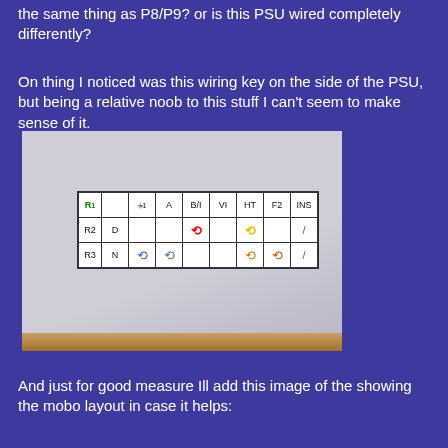the same thing as P8/P9? or is this PSU wired completely differently?
On thing I noticed was this wiring key on the side of the PSU, but being a relative noob to this stuff I can't seem to make sense of it.
[Figure (photo): Photo of wiring key label on the side of a PSU, showing a hand-drawn table with rows R1, R2, R3 and columns for various wire designations (Earth symbol, A, B/I, VI, HT, F2, INS), with colored marks in cells indicating wire connections.]
And just for good measure Ill add this image of the showing the mobo layout in case it helps: